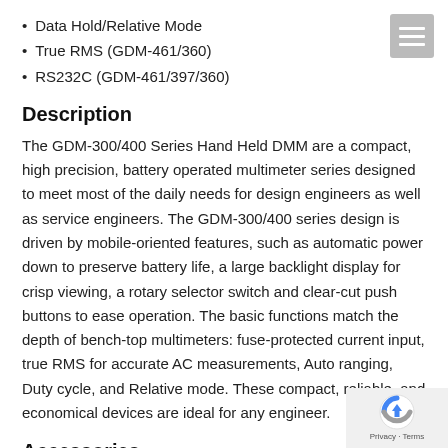Data Hold/Relative Mode
True RMS (GDM-461/360)
RS232C (GDM-461/397/360)
Description
The GDM-300/400 Series Hand Held DMM are a compact, high precision, battery operated multimeter series designed to meet most of the daily needs for design engineers as well as service engineers. The GDM-300/400 series design is driven by mobile-oriented features, such as automatic power down to preserve battery life, a large backlight display for crisp viewing, a rotary selector switch and clear-cut push buttons to ease operation. The basic functions match the depth of bench-top multimeters: fuse-protected current input, true RMS for accurate AC measurements, Auto ranging, Duty cycle, and Relative mode. These compact, reliable, and economical devices are ideal for any engineer.
Accessories